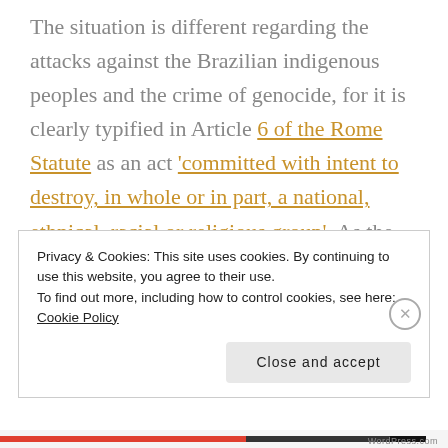The situation is different regarding the attacks against the Brazilian indigenous peoples and the crime of genocide, for it is clearly typified in Article 6 of the Rome Statute as an act 'committed with intent to destroy, in whole or in part, a national, ethnical, racial or religious group'. As the data presented in the first section of this text shows, the attacks against the Brazilian indigenous populations have
Privacy & Cookies: This site uses cookies. By continuing to use this website, you agree to their use.
To find out more, including how to control cookies, see here: Cookie Policy
Close and accept